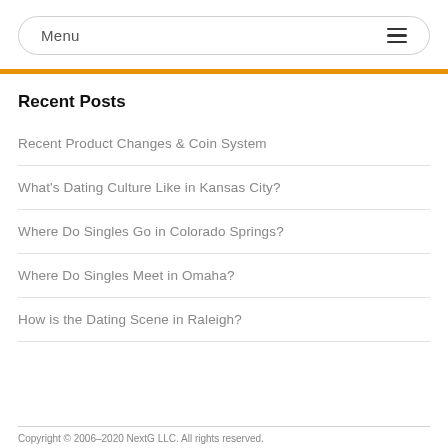Menu
Recent Posts
Recent Product Changes & Coin System
What's Dating Culture Like in Kansas City?
Where Do Singles Go in Colorado Springs?
Where Do Singles Meet in Omaha?
How is the Dating Scene in Raleigh?
Copyright © 2006–2020 NextG LLC. All rights reserved.